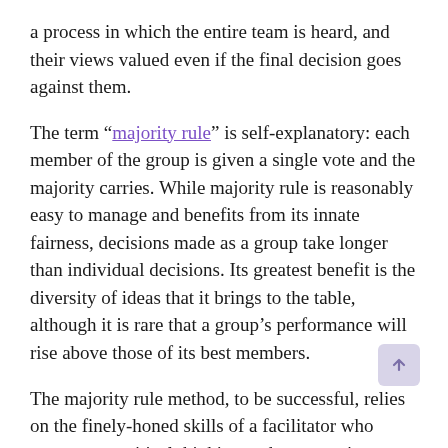a process in which the entire team is heard, and their views valued even if the final decision goes against them.
The term "majority rule" is self-explanatory: each member of the group is given a single vote and the majority carries. While majority rule is reasonably easy to manage and benefits from its innate fairness, decisions made as a group take longer than individual decisions. Its greatest benefit is the diversity of ideas that it brings to the table, although it is rare that a group's performance will rise above those of its best members.
The majority rule method, to be successful, relies on the finely-honed skills of a facilitator who encourages critical thinking and can remain impartial, while tactfully teasing out diverse ideas. Patience is required to allow the exchange of ideas to play out. Effective strategies to speed up the process may include splitting the team into two groups to tackle the same problem or setting up a